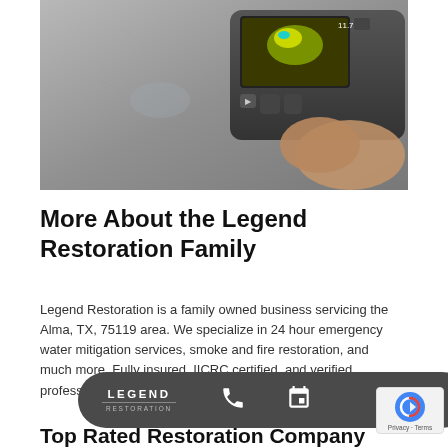[Figure (photo): A person holding a thermal imaging camera pointed at a concrete floor, showing moisture detection display.]
More About the Legend Restoration Family
Legend Restoration is a family owned business servicing the Alma, TX, 75119 area. We specialize in 24 hour emergency water mitigation services, smoke and fire restoration, and much more. Fully insured, IICRC certified, and verified professionals on Angie's List and Home Advisor.
[Figure (logo): Legend Restoration logo with phone and calendar icons in a dark rounded bar overlay]
Top Rated Restoration Company